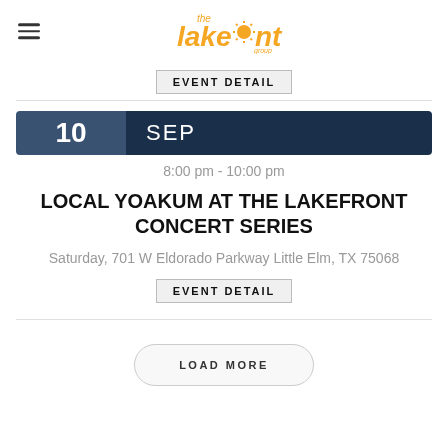the lakefront — logo with hamburger menu
EVENT DETAIL
10 SEP
8:00 pm - 10:00 pm
LOCAL YOAKUM AT THE LAKEFRONT CONCERT SERIES
Saturday, 701 W Eldorado Parkway Little Elm, TX 75068
EVENT DETAIL
LOAD MORE